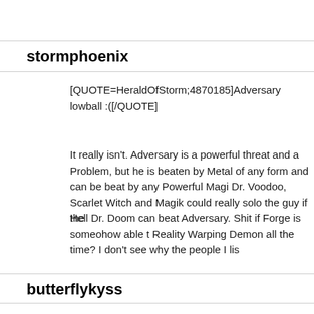stormphoenix
[QUOTE=HeraldOfStorm;4870185]Adversary lowball :([/QUOTE]
It really isn't. Adversary is a powerful threat and a Problem, but he is beaten by Metal of any form and can be beat by any Powerful Magic. Dr. Voodoo, Scarlet Witch and Magik could really solo the guy if they
Hell Dr. Doom can beat Adversary. Shit if Forge is someohow able t Reality Warping Demon all the time? I don't see why the people I lis
butterflykyss
[QUOTE=yogaflame;4870202]Forge did not sacrifice his soul in that souls of the X-Men, which was only in replication of him sacrificing t platoonmates from Vietnam which is what he used to summon the c There was another Adversary story in X-Factor in the 90's and Forg of him alone(by combining his mystical and technological abilities) w
[IMG]https://uncannyxmen.net/sites/default/files/images/spotlight/fo
Storm incinerating Brood ship[B]s[/B] before the Acanti show up